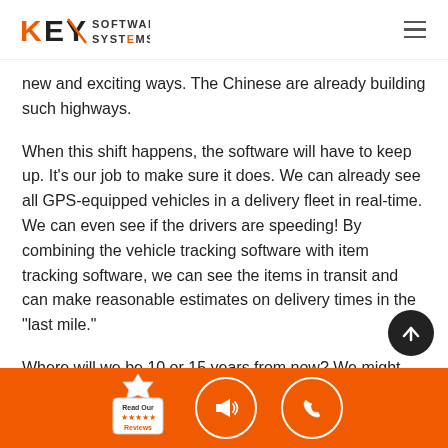KEY SOFTWARE SYSTEMS
new and exciting ways. The Chinese are already building such highways.
When this shift happens, the software will have to keep up. It's our job to make sure it does. We can already see all GPS-equipped vehicles in a delivery fleet in real-time. We can even see if the drivers are speeding! By combining the vehicle tracking software with item tracking software, we can see the items in transit and can make reasonable estimates on delivery times in the "last mile."
Where will we be 10 or 15 years from now? We might even be tracking autonomous drones that leave items in
[Figure (logo): Orange badge with Read Our Reviews and star ratings]
[Figure (illustration): Megaphone icon circle button on orange bar]
[Figure (illustration): Phone icon circle button on orange bar]